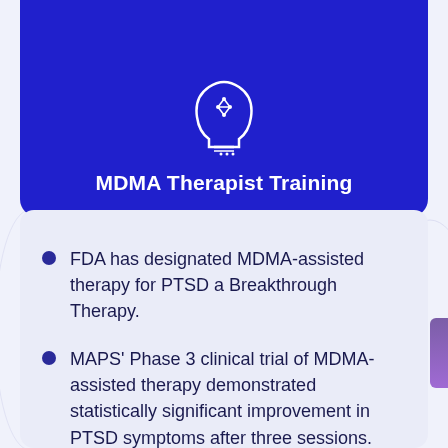[Figure (illustration): White icon of a human head with circuit/brain pattern on blue background]
MDMA Therapist Training
FDA has designated MDMA-assisted therapy for PTSD a Breakthrough Therapy.
MAPS' Phase 3 clinical trial of MDMA-assisted therapy demonstrated statistically significant improvement in PTSD symptoms after three sessions.